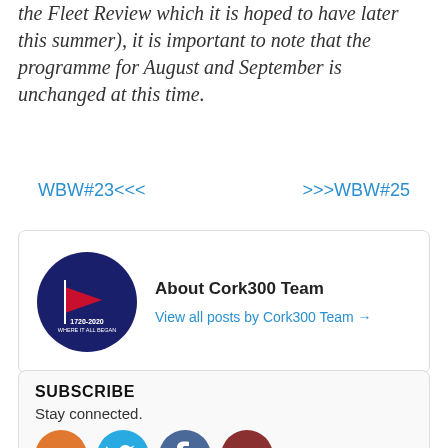the Fleet Review which it is hoped to have later this summer), it is important to note that the programme for August and September is unchanged at this time.
WBW#23<<<     >>>WBW#25
[Figure (other): Author info box for Cork300 Team with circular navy logo showing a red pennant flag and text '1720-2020 WHERE IT ALL BEGAN'. Includes 'About Cork300 Team' heading and 'View all posts by Cork300 Team →' link.]
SUBSCRIBE
Stay connected.
[Figure (other): Four circular social media icons: RSS (orange), Twitter (blue), Facebook (dark blue/slate), YouTube (dark red).]